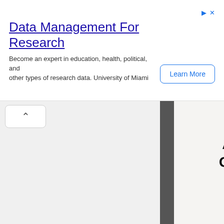Data Management For Research
Become an expert in education, health, political, and other types of research data. University of Miami
[Figure (other): Learn More button with rounded rectangle border in blue]
[Figure (other): Chevron up arrow button in white rounded box]
Data Analytics Certificate
[Figure (logo): University of Miami Online logo - U shape in orange/green with 'Online' text below]
Build tangible data analytics skills to advance your career in any industry. Enroll today!